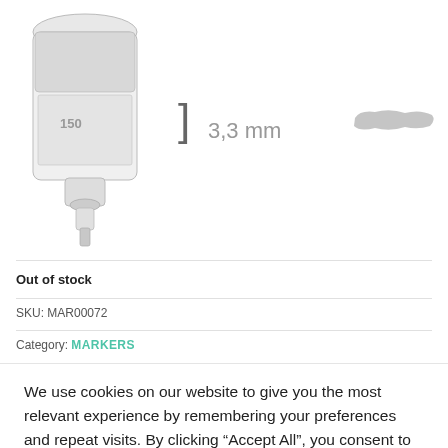[Figure (photo): A marker/paint pen product shown vertically, with a measurement bracket indicating 3,3 mm width at the tip, alongside a gray stroke sample showing the marker line.]
Out of stock
SKU: MAR00072
Category: MARKERS
We use cookies on our website to give you the most relevant experience by remembering your preferences and repeat visits. By clicking “Accept All”, you consent to the use of ALL the cookies. However, you may visit "Cookie Settings" to provide a controlled consent.
Cookie Settings
Accept All